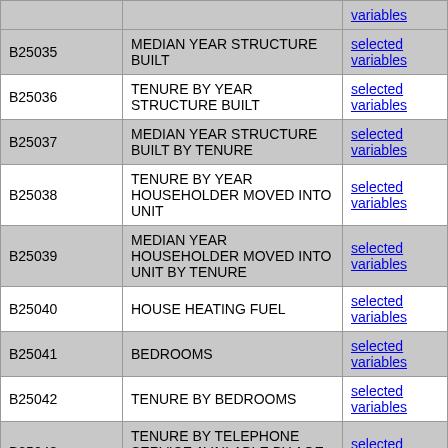| Code | Description | Link |
| --- | --- | --- |
|  |  | variables |
| B25035 | MEDIAN YEAR STRUCTURE BUILT | selected variables |
| B25036 | TENURE BY YEAR STRUCTURE BUILT | selected variables |
| B25037 | MEDIAN YEAR STRUCTURE BUILT BY TENURE | selected variables |
| B25038 | TENURE BY YEAR HOUSEHOLDER MOVED INTO UNIT | selected variables |
| B25039 | MEDIAN YEAR HOUSEHOLDER MOVED INTO UNIT BY TENURE | selected variables |
| B25040 | HOUSE HEATING FUEL | selected variables |
| B25041 | BEDROOMS | selected variables |
| B25042 | TENURE BY BEDROOMS | selected variables |
| B25043 | TENURE BY TELEPHONE SERVICE AVAILABLE BY AGE OF HOUSEHOLDER | selected variables |
| B25044 | TENURE BY VEHICLES AVAILABLE | selected variables |